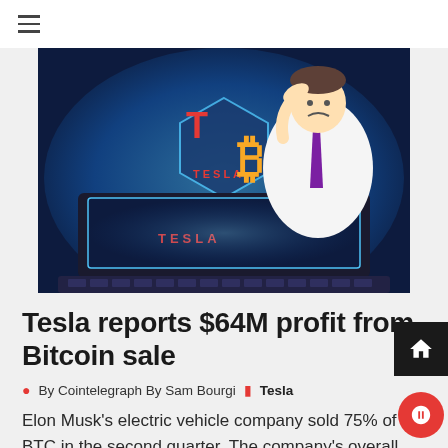≡
[Figure (illustration): Cartoon illustration of a person in a suit with a purple tie typing on a laptop labeled TESLA, with the Tesla logo and Bitcoin symbol displayed on screen, glowing blue light background.]
Tesla reports $64M profit from Bitcoin sale
By Cointelegraph By Sam Bourgi   Tesla
Elon Musk's electric vehicle company sold 75% of its BTC in the second quarter. The company's overall profitability was impacted by inflation and the competition for battery cells